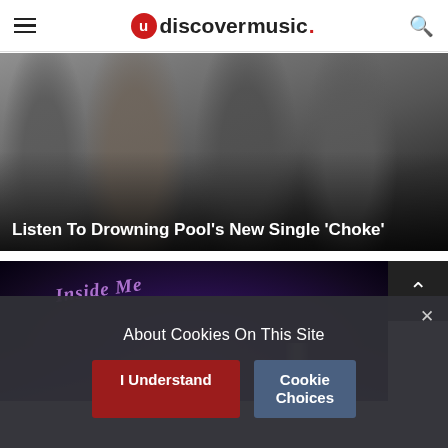udiscovermusic.
[Figure (photo): Four male band members (Drowning Pool) posing against a white background, wearing dark clothing. One has a beard and tattoos, one holds a record.]
Listen To Drowning Pool's New Single 'Choke'
[Figure (photo): Dark concert stage scene with purple/violet lighting. Text 'Inside Me' visible in stylized script. A performer in a dress is visible on stage.]
About Cookies On This Site
I Understand
Cookie Choices